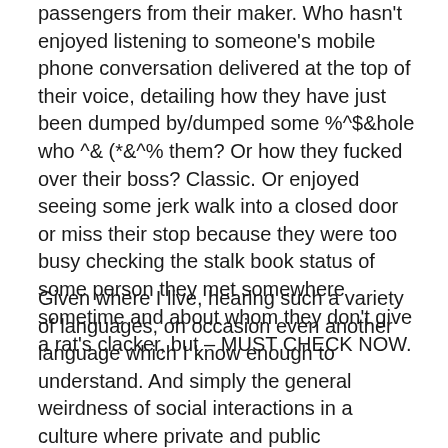passengers from their maker. Who hasn't enjoyed listening to someone's mobile phone conversation delivered at the top of their voice, detailing how they have just been dumped by/dumped some %^$&hole who ^& (*&^% them? Or how they fucked over their boss? Classic. Or enjoyed seeing some jerk walk into a closed door or miss their stop because they were too busy checking the stalk book status of some person they met somewhere sometime and about whom they don't give a rat's clacker, but – MUST CHECK NOW.
Given where I live, hearing such a variety of languages, on occasion even another language which I know enough to understand. And simply the general weirdness of social interactions in a culture where private and public boundaries have dissolved and people interact and speak as though in their living rooms or bed rooms and not in a